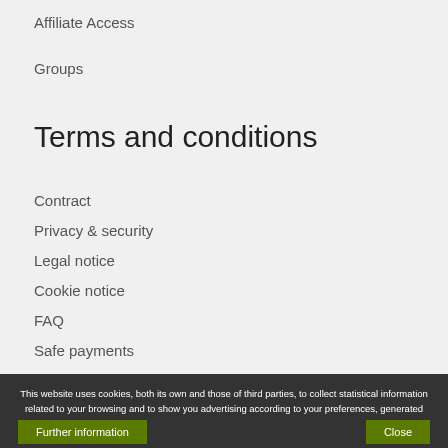Affiliate Access
Groups
Terms and conditions
Contract
Privacy & security
Legal notice
Cookie notice
FAQ
Safe payments
This website uses cookies, both its own and those of third parties, to collect statistical information related to your browsing and to show you advertising according to your preferences, generated from your browsing patterns. If you continue surfing, we will consider that you are accepting its use
Further information
Close